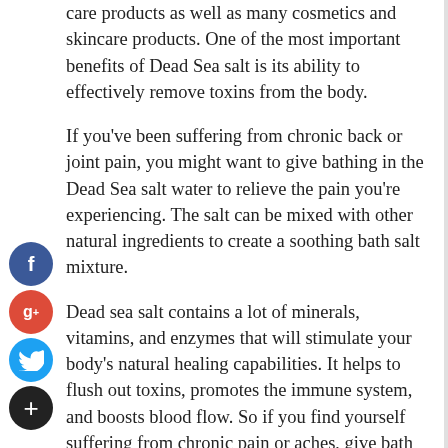care products as well as many cosmetics and skincare products. One of the most important benefits of Dead Sea salt is its ability to effectively remove toxins from the body.
If you've been suffering from chronic back or joint pain, you might want to give bathing in the Dead Sea salt water to relieve the pain you're experiencing. The salt can be mixed with other natural ingredients to create a soothing bath salt mixture.
[Figure (infographic): Social media share buttons sidebar: Facebook (blue circle with f), Google+ (red circle with g+), Twitter (blue circle with bird icon), Add/Share (dark circle with + sign)]
Dead sea salt contains a lot of minerals, vitamins, and enzymes that will stimulate your body's natural healing capabilities. It helps to flush out toxins, promotes the immune system, and boosts blood flow. So if you find yourself suffering from chronic pain or aches, give bath salts from Amazon a try.
Another great benefit of Dead Sea bath salts is the minerals found inside them. Minerals such as calcium, magnesium,